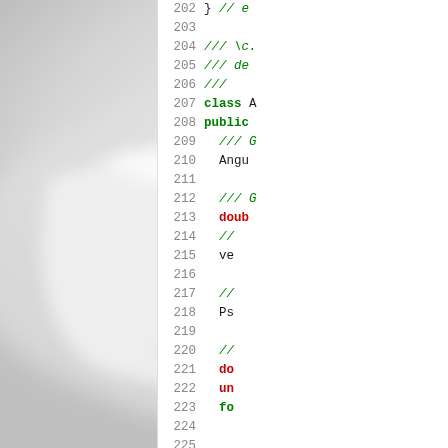[Figure (photo): Close-up photo of white plastic or ceramic component, blurry/soft focus, occupying the left ~62% of the page]
[Figure (screenshot): Code editor panel showing C++ source code lines 202-229 with line numbers, green comments, bold green keywords (class, public), red member variables (double, unsigned, for), on white background]